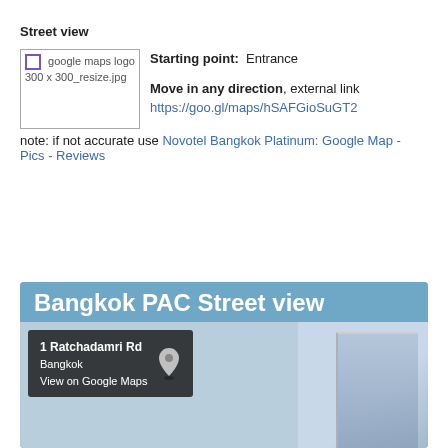Street view
[Figure (other): Google Maps logo placeholder image labeled 'google maps logo 300 x 300_resize.jpg']
Starting point:  Entrance
Move in any direction, external link https://goo.gl/maps/hSAFGioSuGT2
note: if not accurate use Novotel Bangkok Platinum: Google Map - Pics - Reviews
[Figure (screenshot): Bangkok PAC Street view screenshot showing Google Street View of 1 Ratchadamri Rd, Bangkok with building in background]